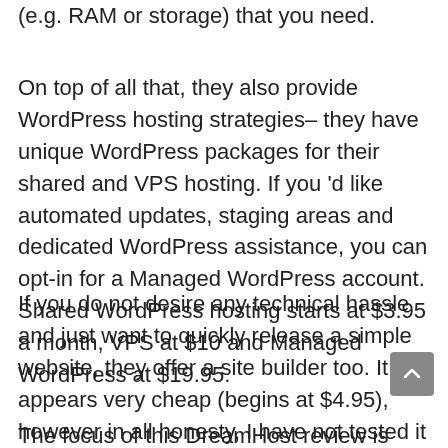(e.g. RAM or storage) that you need.
On top of all that, they also provide WordPress hosting strategies– they have unique WordPress packages for their shared and VPS hosting. If you 'd like automated updates, staging areas and dedicated WordPress assistance, you can opt-in for a Managed WordPress account. Shared WordPress hosting starts at $3.95 a month, VPS at $10 and Managed WordPress at $19.95.
If you do not desire any technical hassle and just want to quickly release a simple website, they offer a site builder too. It appears very cheap (begins at $4.95), however in all honesty, I have not tested it so I would not know if it's any good.
The focus of this DreamHost review is their shared hosting